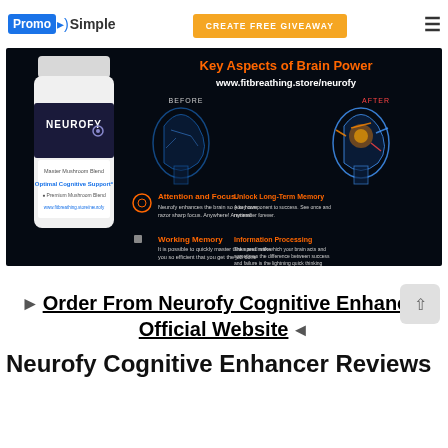PromoSimple  CREATE FREE GIVEAWAY  ☰
[Figure (infographic): Neurofy product banner showing a white supplement bottle labeled NEUROFY Master Mushroom Blend / Optimal Cognitive Support on the left against a dark background, with brain imagery showing BEFORE and AFTER states, titled 'Key Aspects of Brain Power' with URL www.fitbreathing.store/neurofy, and four feature callouts: Attention and Focus, Unlock Long-Term Memory, Working Memory, Information Processing.]
► Order From Neurofy Cognitive Enhancer Official Website ◄
Neurofy Cognitive Enhancer Reviews